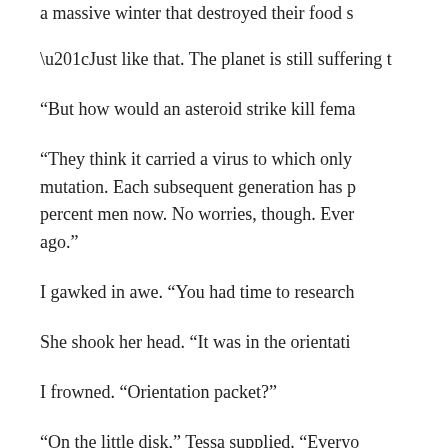a massive winter that destroyed their food s
“Just like that. The planet is still suffering t
“But how would an asteroid strike kill fema
“They think it carried a virus to which only mutation. Each subsequent generation has p percent men now. No worries, though. Ever ago.”
I gawked in awe. “You had time to research
She shook her head. “It was in the orientati
I frowned. “Orientation packet?”
“On the little disk,” Tessa supplied. “Everyo